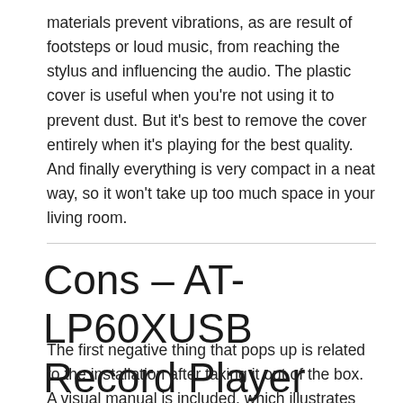materials prevent vibrations, as are result of footsteps or loud music, from reaching the stylus and influencing the audio. The plastic cover is useful when you're not using it to prevent dust. But it's best to remove the cover entirely when it's playing for the best quality. And finally everything is very compact in a neat way, so it won't take up too much space in your living room.
Cons – AT-LP60XUSB Record Player
The first negative thing that pops up is related to the installation after taking it out of the box. A visual manual is included, which illustrates the important steps necessary. Like how to wrap the belt around